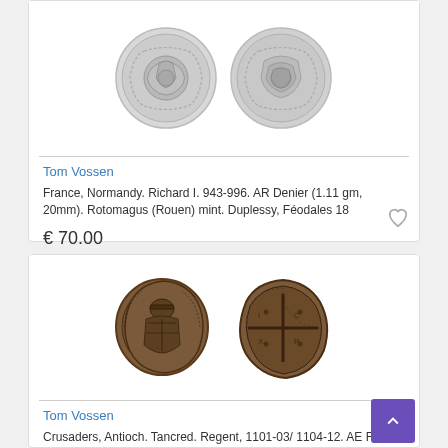[Figure (photo): Two silver medieval coins (obverse and reverse) - France, Normandy AR Denier]
Tom Vossen
France, Normandy. Richard I. 943-996. AR Denier (1.11 gm, 20mm). Rotomagus (Rouen) mint. Duplessy, Féodales 18
€ 70.00
[Figure (photo): Two bronze/copper medieval coins (obverse and reverse) - Crusaders, Antioch AE Follis]
Tom Vossen
Crusaders, Antioch. Tancred. Regent, 1101-03/ 1104-12. AE Follis (2.06 gm, 20mm). Second type. Metcalf, Crusades 63-70